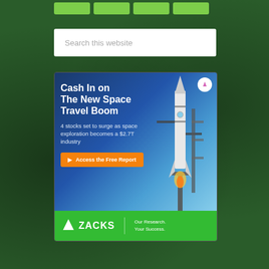[Figure (screenshot): Dark green background resembling US dollar bills texture]
[Figure (infographic): Search bar with placeholder text 'Search this website' on white background]
[Figure (infographic): Zacks Investment Research advertisement banner. Shows headline 'Cash In on The New Space Travel Boom', subtext '4 stocks set to surge as space exploration becomes a $2.7T industry', orange CTA button 'Access the Free Report', rocket launch photo on right side, and Zacks logo with 'Our Research. Your Success.' tagline at bottom on green bar.]